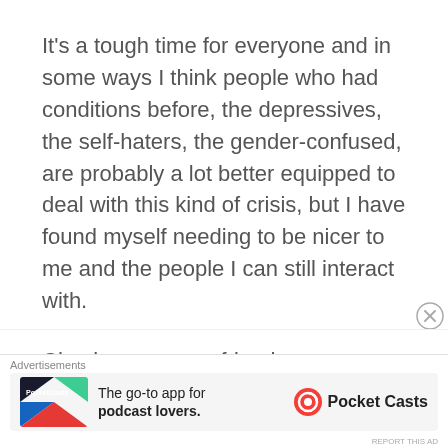It's a tough time for everyone and in some ways I think people who had conditions before, the depressives, the self-haters, the gender-confused, are probably a lot better equipped to deal with this kind of crisis, but I have found myself needing to be nicer to me and the people I can still interact with.
Check up on your friends on Facebook. A couple of swapped messages across the messenger are like a little hit of joy. Comment nicely on something someone has put up. Fill your newsfeed with bright and fun stuff. It's not a case...
Advertisements
The go-to app for podcast lovers. Pocket Casts